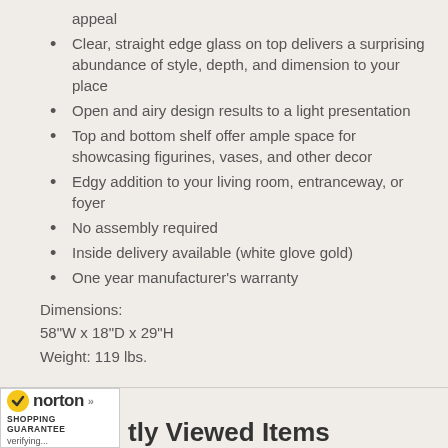appeal
Clear, straight edge glass on top delivers a surprising abundance of style, depth, and dimension to your place
Open and airy design results to a light presentation
Top and bottom shelf offer ample space for showcasing figurines, vases, and other decor
Edgy addition to your living room, entranceway, or foyer
No assembly required
Inside delivery available (white glove gold)
One year manufacturer's warranty
Dimensions:
58"W x 18"D x 29"H
Weight: 119 lbs.
[Figure (logo): Norton Shopping Guarantee badge with yellow checkmark, 'norton' text, and 'SHOPPING GUARANTEE' label, showing 'verifying...' status]
tly Viewed Items